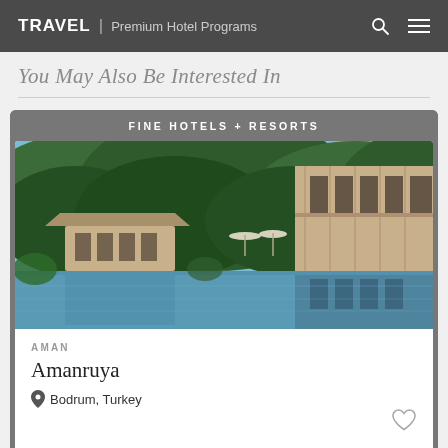TRAVEL | Premium Hotel Programs
You May Also Be Interested In
FINE HOTELS + RESORTS
[Figure (photo): Aerial/wide view of Amanruya resort in Bodrum, Turkey, showing stone buildings with tiled roofs surrounded by lush green forested hills, reflecting pools/infinity pool, and modern stone architecture with large windows on the right.]
AMAN
Amanruya
Bodrum, Turkey